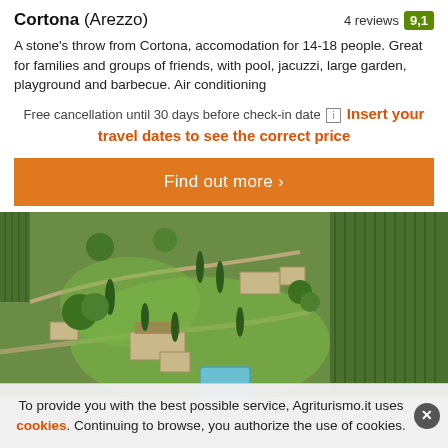Cortona (Arezzo) — 4 reviews 9.1
A stone's throw from Cortona, accomodation for 14-18 people. Great for families and groups of friends, with pool, jacuzzi, large garden, playground and barbecue. Air conditioning
Free cancellation until 30 days before check-in date [i] Insert your travel dates to see the correct price
Find out more >
[Figure (photo): Aerial view of a Tuscan farmhouse estate with pool, surrounded by vineyards and cypress trees, green fields, near Cortona]
To provide you with the best possible service, Agriturismo.it uses cookies. Continuing to browse, you authorize the use of cookies.